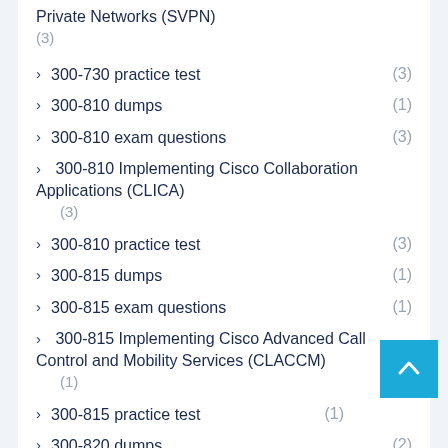Private Networks (SVPN)
(3)
300-730 practice test (3)
300-810 dumps (1)
300-810 exam questions (3)
300-810 Implementing Cisco Collaboration Applications (CLICA)
(3)
300-810 practice test (3)
300-815 dumps (1)
300-815 exam questions (1)
300-815 Implementing Cisco Advanced Call Control and Mobility Services (CLACCM)
(1)
300-815 practice test (1)
300-820 dumps (2)
300-820 exam questions (2)